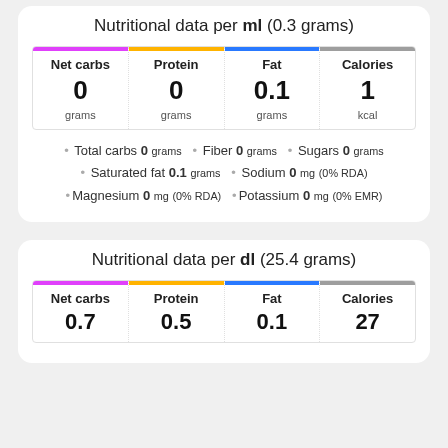Nutritional data per ml (0.3 grams)
| Net carbs | Protein | Fat | Calories |
| --- | --- | --- | --- |
| 0 grams | 0 grams | 0.1 grams | 1 kcal |
• Total carbs 0 grams • Fiber 0 grams • Sugars 0 grams • Saturated fat 0.1 grams • Sodium 0 mg (0% RDA) • Magnesium 0 mg (0% RDA) • Potassium 0 mg (0% EMR)
Nutritional data per dl (25.4 grams)
| Net carbs | Protein | Fat | Calories |
| --- | --- | --- | --- |
| 0.7 grams | 0.5 grams | 0.1 grams | 27 kcal |